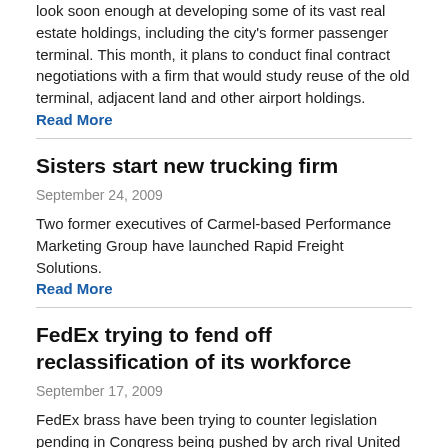look soon enough at developing some of its vast real estate holdings, including the city's former passenger terminal. This month, it plans to conduct final contract negotiations with a firm that would study reuse of the old terminal, adjacent land and other airport holdings.
Read More
Sisters start new trucking firm
September 24, 2009
Two former executives of Carmel-based Performance Marketing Group have launched Rapid Freight Solutions.
Read More
FedEx trying to fend off reclassification of its workforce
September 17, 2009
FedEx brass have been trying to counter legislation pending in Congress being pushed by arch rival United Parcel Service and the Teamsters union.
Read More